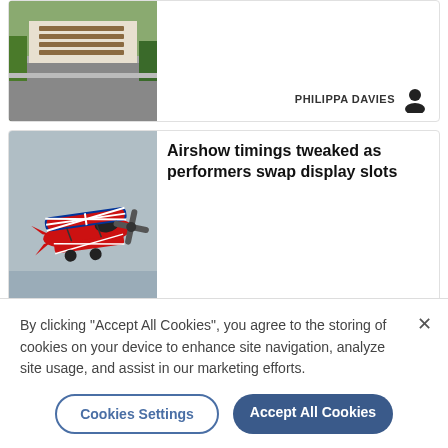[Figure (photo): Building exterior with wooden slat facade and parking area, thumbnail for news card 1]
PHILIPPA DAVIES
[Figure (photo): Red biplane with Union Jack livery in flight against grey sky]
Airshow timings tweaked as performers swap display slots
PHILIPPA DAVIES
[Figure (photo): Brick building with dormer window against blue sky]
OPINION
Former doctors surgery is perfect home
By clicking "Accept All Cookies", you agree to the storing of cookies on your device to enhance site navigation, analyze site usage, and assist in our marketing efforts.